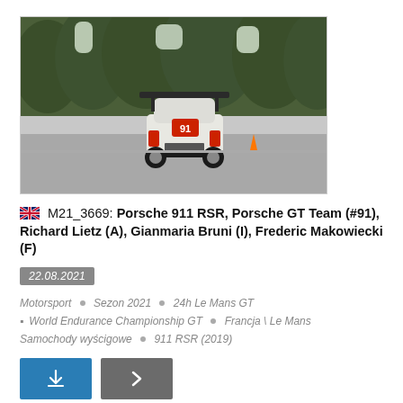[Figure (photo): Rear view of a white Porsche 911 RSR racing car (#91) on a circuit at Le Mans, trees in background, overcast sky]
M21_3669: Porsche 911 RSR, Porsche GT Team (#91), Richard Lietz (A), Gianmaria Bruni (I), Frederic Makowiecki (F)
22.08.2021
Motorsport • Sezon 2021 • 24h Le Mans GT • World Endurance Championship GT • Francja \ Le Mans Samochody wyścigowe • 911 RSR (2019)